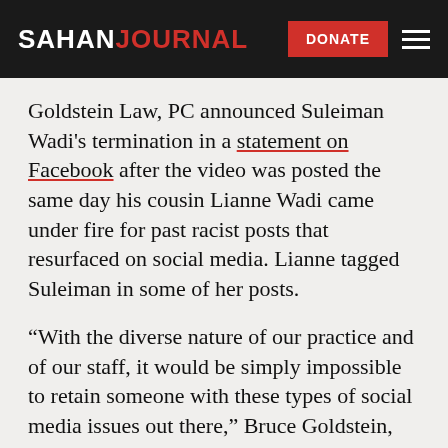SAHAN JOURNAL
Goldstein Law, PC announced Suleiman Wadi's termination in a statement on Facebook after the video was posted the same day his cousin Lianne Wadi came under fire for past racist posts that resurfaced on social media. Lianne tagged Suleiman in some of her posts.
“With the diverse nature of our practice and of our staff, it would be simply impossible to retain someone with these types of social media issues out there,” Bruce Goldstein, owner of Goldstein Law, told Sahan Journal.